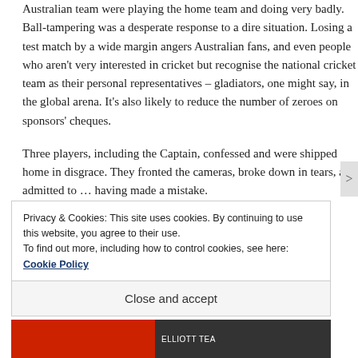Australian team were playing the home team and doing very badly. Ball-tampering was a desperate response to a dire situation. Losing a test match by a wide margin angers Australian fans, and even people who aren't very interested in cricket but recognise the national cricket team as their personal representatives – gladiators, one might say, in the global arena. It's also likely to reduce the number of zeroes on sponsors' cheques.
Three players, including the Captain, confessed and were shipped home in disgrace. They fronted the cameras, broke down in tears, and admitted to … having made a mistake.
Privacy & Cookies: This site uses cookies. By continuing to use this website, you agree to their use.
To find out more, including how to control cookies, see here: Cookie Policy
Close and accept